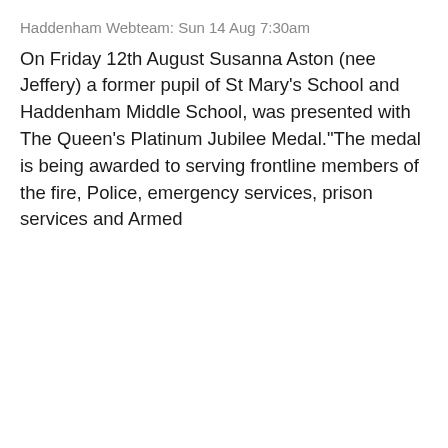Haddenham Webteam: Sun 14 Aug 7:30am
On Friday 12th August Susanna Aston (nee Jeffery) a former pupil of St Mary's School and Haddenham Middle School, was presented with The Queen's Platinum Jubilee Medal."The medal is being awarded to serving frontline members of the fire, Police, emergency services, prison services and Armed